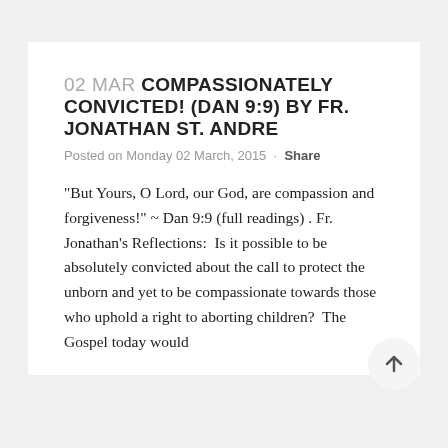02 MAR COMPASSIONATELY CONVICTED! (DAN 9:9) BY FR. JONATHAN ST. ANDRE
Posted on Monday 02 March, 2015 · Share
"But Yours, O Lord, our God, are compassion and forgiveness!" ~ Dan 9:9 (full readings) . Fr. Jonathan's Reflections:  Is it possible to be absolutely convicted about the call to protect the unborn and yet to be compassionate towards those who uphold a right to aborting children?  The Gospel today would